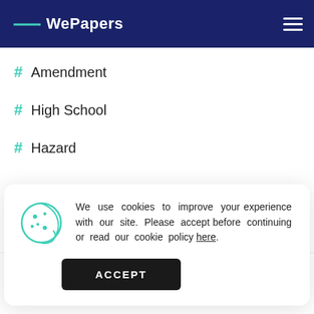WePapers
# Amendment
# High School
# Hazard
We use cookies to improve your experience with our site. Please accept before continuing or read our cookie policy here.
ACCEPT
Shopping Case  Studies  Wealth Case  Studies  Products  Family